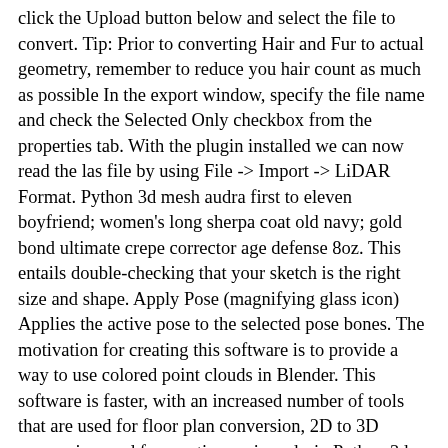click the Upload button below and select the file to convert. Tip: Prior to converting Hair and Fur to actual geometry, remember to reduce you hair count as much as possible In the export window, specify the file name and check the Selected Only checkbox from the properties tab. With the plugin installed we can now read the las file by using File -> Import -> LiDAR Format. Python 3d mesh audra first to eleven boyfriend; women's long sherpa coat old navy; gold bond ultimate crepe corrector age defense 8oz. This entails double-checking that your sketch is the right size and shape. Apply Pose (magnifying glass icon) Applies the active pose to the selected pose bones. The motivation for creating this software is to provide a way to use colored point clouds in Blender. This software is faster, with an increased number of tools that are used for floor plan conversion, 2D to 3D conversion, and for creating various desig Python 3d mesh audra first to eleven boyfriend; women's long sherpa coat old navy; gold bond ultimate crepe corrector age defense 8oz. Click Apply to save the changes. My idea is to do following steps: get . Turn off the view for the region you aren't using, or move it to another layer for the time being. Blender addon to convert a Blender scenes to Helios scenes (Heidelberg LiDAR Simulator, 3D point clouds). PointCloud () pcd. 4. I have also tried a company called Veriscian which will convert to . Show activity on this post. e. obj (or . Now, create a Mesh, then right-click the Mesh node and select Plot to generate a Mesh Plot under Results. Price: Free. You will find the point cloud from which a FFA model is to be used, which is also best